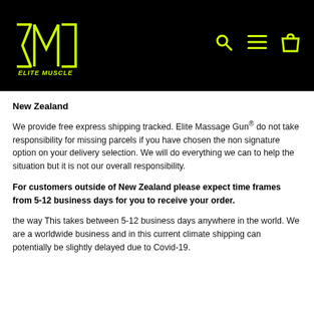Elite Muscle logo and navigation header
New Zealand
We provide free express shipping tracked. Elite Massage Gun® do not take responsibility for missing parcels if you have chosen the non signature option on your delivery selection. We will do everything we can to help the situation but it is not our overall responsibility.
For customers outside of New Zealand please expect time frames from 5-12 business days for you to receive your order.
the way This takes between 5-12 business days anywhere in the world. We are a worldwide business and in this current climate shipping can potentially be slightly delayed due to Covid-19.